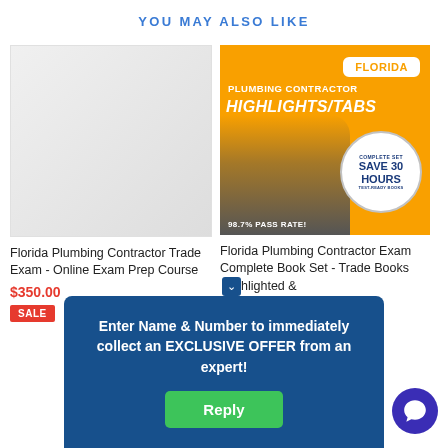YOU MAY ALSO LIKE
[Figure (photo): Left card: blank/light gray placeholder image for Florida Plumbing Contractor Trade Exam Online Course]
[Figure (illustration): Florida Plumbing Contractor Highlights/Tabs promotional image with orange background, plumber photo, FLORIDA badge, SAVE 30 HOURS stamp, 98.7% PASS RATE text]
Florida Plumbing Contractor Trade Exam - Online Exam Prep Course
$350.00
SALE
Florida Plumbing Contractor Exam Complete Book Set - Trade Books Highlighted &
Enter Name & Number to immediately collect an EXCLUSIVE OFFER from an expert!
Reply